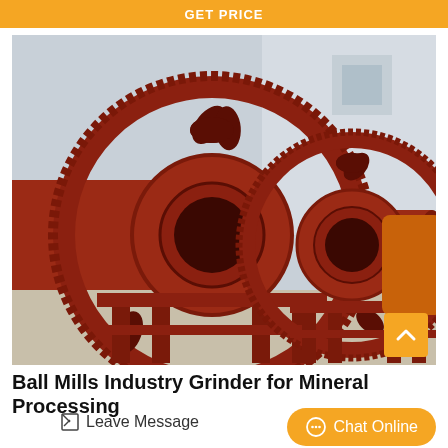GET PRICE
[Figure (photo): Industrial ball mills with large red ring gears on metal stands, photographed outdoors in a factory yard. Two large grinding mill machines are visible, both painted dark red/rust color.]
Ball Mills Industry Grinder for Mineral Processing
Leave Message
Chat Online